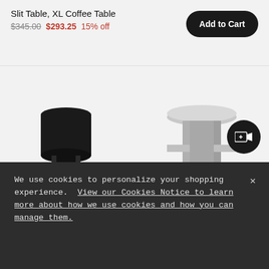Slit Table, XL Coffee Table
$345.00  $293.25  15% off
Add to Cart
[Figure (photo): Black metal slit table, high version, with round top and cross-base legs]
SLIT TABLE, HIGH
[Figure (photo): Silver/chrome metal slit table, side table version, with round top and cross-base legs]
SLIT TABLE, SIDE TABLE
We use cookies to personalize your shopping experience. View our Cookies Notice to learn more about how we use cookies and how you can manage them.